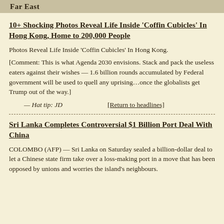Far East
10+ Shocking Photos Reveal Life Inside ‘Coffin Cubicles’ In Hong Kong, Home to 200,000 People
Photos Reveal Life Inside ‘Coffin Cubicles’ In Hong Kong.
[Comment: This is what Agenda 2030 envisions. Stack and pack the useless eaters against their wishes — 1.6 billion rounds accumulated by Federal government will be used to quell any uprising…once the globalists get Trump out of the way.]
— Hat tip: JD        [Return to headlines]
Sri Lanka Completes Controversial $1 Billion Port Deal With China
COLOMBO (AFP) — Sri Lanka on Saturday sealed a billion-dollar deal to let a Chinese state firm take over a loss-making port in a move that has been opposed by unions and worries the island’s neighbours.